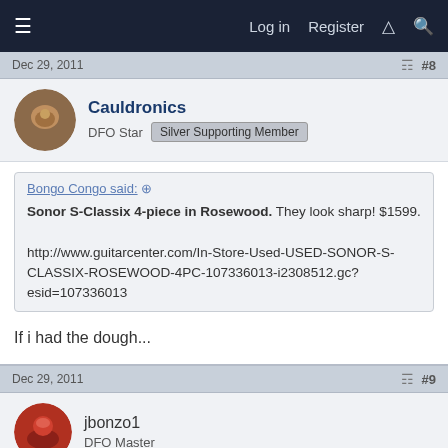Log in  Register
Dec 29, 2011  #8
Cauldronics
DFO Star  Silver Supporting Member
Bongo Congo said:
Sonor S-Classix 4-piece in Rosewood. They look sharp! $1599.

http://www.guitarcenter.com/In-Store-Used-USED-SONOR-S-CLASSIX-ROSEWOOD-4PC-107336013-i2308512.gc?esid=107336013
If i had the dough...
Dec 29, 2011  #9
jbonzo1
DFO Master